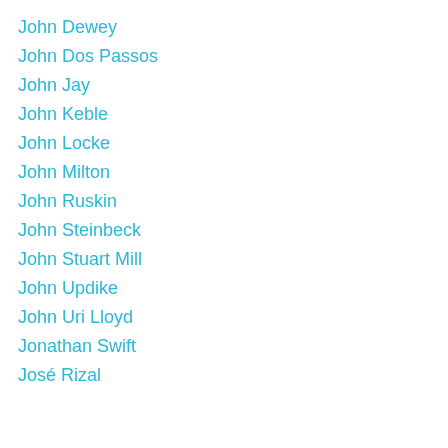John Dewey
John Dos Passos
John Jay
John Keble
John Locke
John Milton
John Ruskin
John Steinbeck
John Stuart Mill
John Updike
John Uri Lloyd
Jonathan Swift
José Rizal